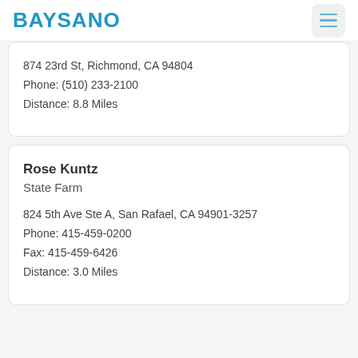BAYSANO
874 23rd St, Richmond, CA 94804
Phone: (510) 233-2100
Distance: 8.8 Miles
Rose Kuntz
State Farm
824 5th Ave Ste A, San Rafael, CA 94901-3257
Phone: 415-459-0200
Fax: 415-459-6426
Distance: 3.0 Miles